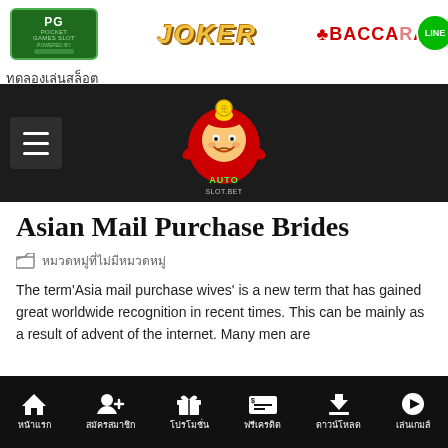[Figure (logo): PG Pocket Games Slot logo in green box]
[Figure (logo): JOKER logo in gold italic text]
[Figure (logo): BACCARAT logo in red with LINE green circle badge]
ทดลองเล่นสล็อต
[Figure (logo): Dark navigation header bar with hamburger menu and Auto Slot Bet mascot logo]
Asian Mail Purchase Brides
📁 หมวดหมู่ที่ไม่มีหมวดหมู่
The term'Asia mail purchase wives' is a new term that has gained great worldwide recognition in recent times. This can be mainly as a result of advent of the internet. Many men are
หน้าแรก | สมัครสมาชิก | โปรโมชั่น | ฟรีเครดิต | ดาวน์โหลด | เล่นเกมส์